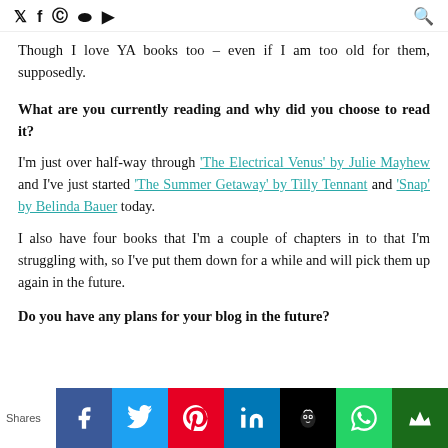Twitter Facebook Pinterest Instagram YouTube [Search]
Though I love YA books too – even if I am too old for them, supposedly.
What are you currently reading and why did you choose to read it?
I'm just over half-way through 'The Electrical Venus' by Julie Mayhew and I've just started 'The Summer Getaway' by Tilly Tennant and 'Snap' by Belinda Bauer today.
I also have four books that I'm a couple of chapters in to that I'm struggling with, so I've put them down for a while and will pick them up again in the future.
Do you have any plans for your blog in the future?
Shares [Facebook] [Twitter] [Pinterest] [LinkedIn] [Hootsuite] [WhatsApp] [Other]